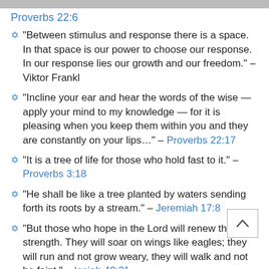Proverbs 22:6
✶ “Between stimulus and response there is a space. In that space is our power to choose our response. In our response lies our growth and our freedom.” – Viktor Frankl
✶ “Incline your ear and hear the words of the wise — apply your mind to my knowledge — for it is pleasing when you keep them within you and they are constantly on your lips…” – Proverbs 22:17
✶ “It is a tree of life for those who hold fast to it.” – Proverbs 3:18
✶ “He shall be like a tree planted by waters sending forth its roots by a stream.” – Jeremiah 17:8
✶ “But those who hope in the Lord will renew their strength. They will soar on wings like eagles; they will run and not grow weary, they will walk and not be faint.” – Isaiah 40:31
✶ “Whoever teaches his son teaches not only his son, but also his son’s son – and so on to the end